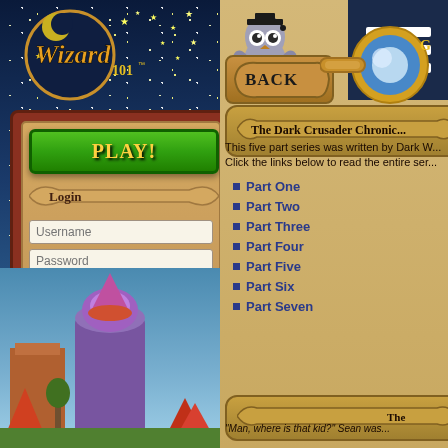[Figure (screenshot): Wizard 101 game website screenshot showing left panel with night sky, Wizard101 logo, login box with PLAY button, username and password fields, login button and forgot link, and town scene at bottom. Right panel shows parchment background with owl character, BACK button, navigation menu (hamburger), The Dark Crusader Chronicles scroll title, introductory text, and list of parts (Part One through Part Seven), plus a second scroll banner at bottom with partial quote.]
Wizard 101
Login
Username
Password
Login
Forgot?
The Dark Crusader Chronic...
This five part series was written by Dark W... Click the links below to read the entire ser...
Part One
Part Two
Part Three
Part Four
Part Five
Part Six
Part Seven
The
"Man, where is that kid?" Sean was...